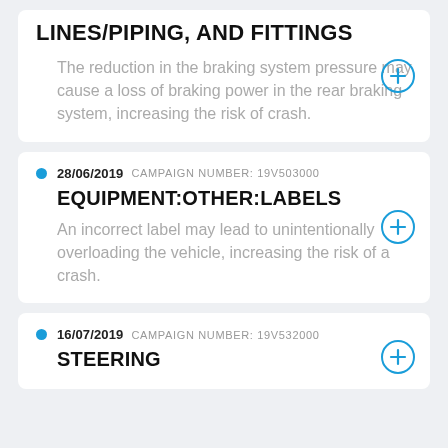LINES/PIPING, AND FITTINGS
The reduction in the braking system pressure may cause a loss of braking power in the rear braking system, increasing the risk of crash.
28/06/2019  CAMPAIGN NUMBER: 19V503000
EQUIPMENT:OTHER:LABELS
An incorrect label may lead to unintentionally overloading the vehicle, increasing the risk of a crash.
16/07/2019  CAMPAIGN NUMBER: 19V532000
STEERING